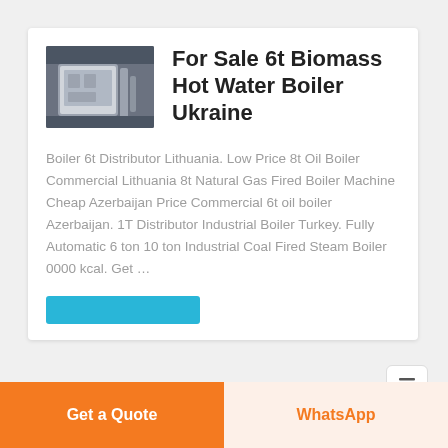[Figure (photo): Industrial biomass hot water boiler machinery in a factory setting, silver/grey metal equipment]
For Sale 6t Biomass Hot Water Boiler Ukraine
Boiler 6t Distributor Lithuania. Low Price 8t Oil Boiler Commercial Lithuania 8t Natural Gas Fired Boiler Machine Cheap Azerbaijan Price Commercial 6t oil boiler Azerbaijan. 1T Distributor Industrial Boiler Turkey. Fully Automatic 6 ton 10 ton Industrial Coal Fired Steam Boiler 0000 kcal. Get …
Get a Quote
WhatsApp